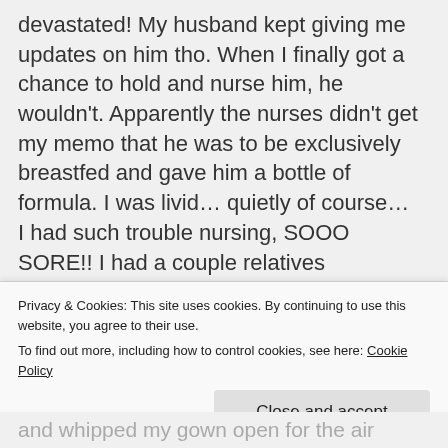devastated! My husband kept giving me updates on him tho. When I finally got a chance to hold and nurse him, he wouldn't. Apparently the nurses didn't get my memo that he was to be exclusively breastfed and gave him a bottle of formula. I was livid… quietly of course… I had such trouble nursing, SOOO SORE!! I had a couple relatives recommend just bottle feeding him, but I didn't care what they said. The nurses all helped me try to get him to
Privacy & Cookies: This site uses cookies. By continuing to use this website, you agree to their use.
To find out more, including how to control cookies, see here: Cookie Policy
Close and accept
and whipped my gown open for the air